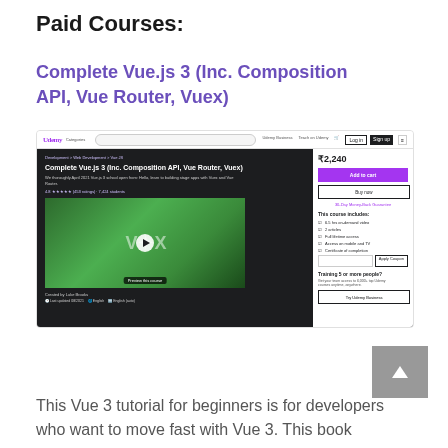Paid Courses:
Complete Vue.js 3 (Inc. Composition API, Vue Router, Vuex)
[Figure (screenshot): Screenshot of a Udemy course page for 'Complete Vue.js 3 (Inc. Composition API, Vue Router, Vuex)' showing the course title, video preview with Vue logo, pricing at ₹2,240, Add to cart button, course includes section, and a preview strip at the bottom with video thumbnails.]
This Vue 3 tutorial for beginners is for developers who want to move fast with Vue 3. This book